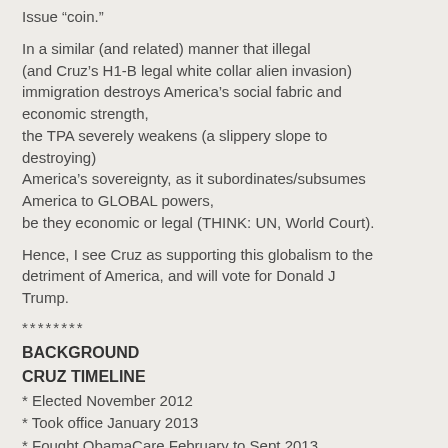Issue “coin.”
In a similar (and related) manner that illegal (and Cruz’s H1-B legal white collar alien invasion) immigration destroys America’s social fabric and economic strength,
the TPA severely weakens (a slippery slope to destroying)
America’s sovereignty, as it subordinates/subsumes America to GLOBAL powers,
be they economic or legal (THINK: UN, World Court).
Hence, I see Cruz as supporting this globalism to the detriment of America, and will vote for Donald J Trump.
********
BACKGROUND
CRUZ TIMELINE
* Elected November 2012
* Took office January 2013
* Fought ObamaCare February to Sept 2013